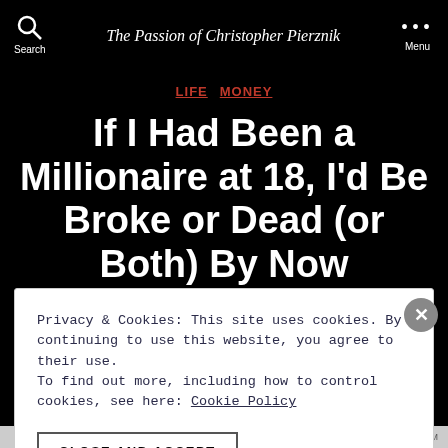Search | The Passion of Christopher Pierznik | Menu
LIFE  MONEY
If I Had Been a Millionaire at 18, I'd Be Broke or Dead (or Both) By Now
Privacy & Cookies: This site uses cookies. By continuing to use this website, you agree to their use.
To find out more, including how to control cookies, see here: Cookie Policy
CLOSE AND ACCEPT